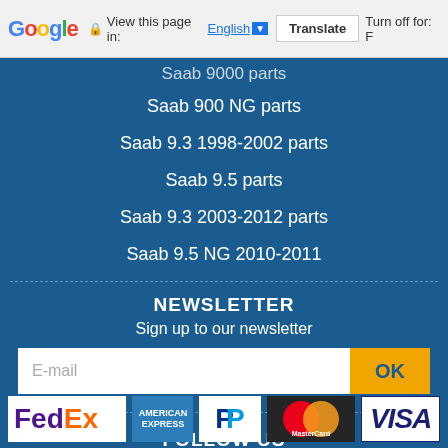[Figure (screenshot): Google Translate bar at top: Google logo, lock icon, 'View this page in:' text, English dropdown, Translate button, 'Turn off for: F' text]
Saab 9000 parts
Saab 900 NG parts
Saab 9.3 1998-2002 parts
Saab 9.5 parts
Saab 9.3 2003-2012 parts
Saab 9.5 NG 2010-2011
NEWSLETTER
Sign up to our newsletter
FOLLOW US
[Figure (logo): Payment method logos: FedEx, American Express, PayPal, MasterCard, Visa]